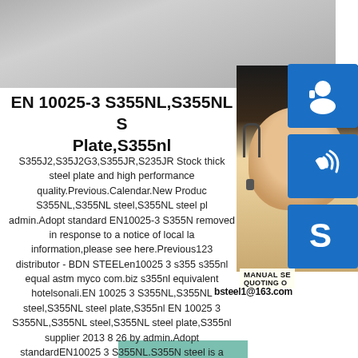[Figure (photo): Steel plate texture at top of page]
[Figure (photo): Customer service representative woman with headset, with blue icon boxes for chat, phone/call, and Skype, plus email contact bsteel1@163.com]
EN 10025-3 S355NL,S355NL S Plate,S355nl
S355J2,S35J2G3,S355JR,S235JR Stock thick steel plate and high performance quality.Previous.Calendar.New Product S355NL,S355NL steel,S355NL steel pl admin.Adopt standard EN10025-3 S355N removed in response to a notice of local la information,please see here.Previous123 distributor - BDN STEELen10025 3 s355 s355nl equal astm myco com.biz s355nl equivalent hotelsonali.EN 10025 3 S355NL,S355NL steel,S355NL steel plate,S355nl EN 10025 3 S355NL,S355NL steel,S355NL steel plate,S355nl supplier 2013 8 26 by admin.Adopt standardEN10025 3 S355NL.S355N steel is a structural steel grade.Get Price.Read More